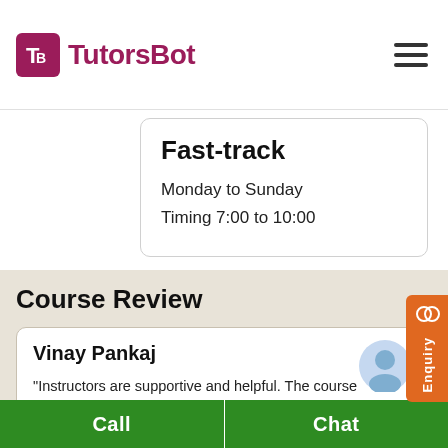[Figure (logo): TutorsBot logo with purple T-B icon and text]
Fast-track
Monday to Sunday
Timing 7:00 to 10:00
Course Review
Vinay Pankaj
"Instructors are supportive and helpful. The course syllabus and training sessions make it easy to clear Docker. Thanks, TutorsBot for the Docker training online course. "
Call
Chat